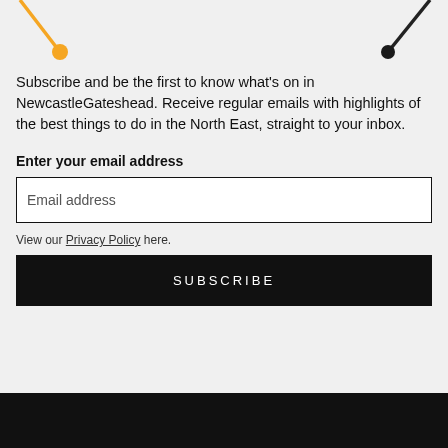[Figure (illustration): Decorative orange diagonal line with orange dot on left, and dark diagonal line with dark dot on right, on light grey background]
Subscribe and be the first to know what's on in NewcastleGateshead. Receive regular emails with highlights of the best things to do in the North East, straight to your inbox.
Enter your email address
Email address
View our Privacy Policy here.
SUBSCRIBE